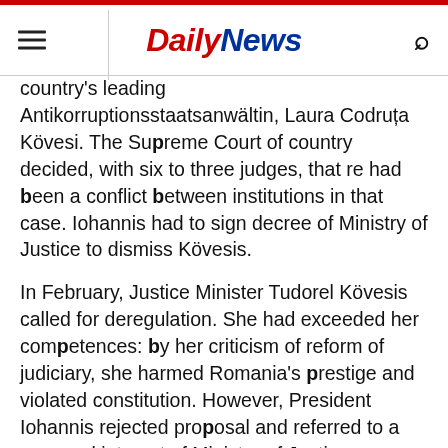Daily News
country's leading Antikorruptionsstaatsanwältin, Laura Codruța Kövesi. The Supreme Court of country decided, with six to three judges, that re had been a conflict between institutions in that case. Iohannis had to sign decree of Ministry of Justice to dismiss Kövesis.
In February, Justice Minister Tudorel Kövesis called for deregulation. She had exceeded her competences: by her criticism of reform of judiciary, she harmed Romania's prestige and violated constitution. However, President Iohannis rejected proposal and referred to a personal interest of Minister of Justice. Subsequently, government turned to Constitutional Court to have Iohannis ' decision checked.